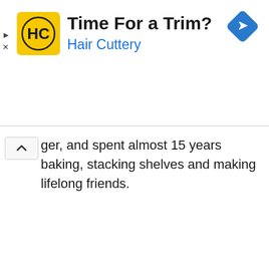[Figure (screenshot): Hair Cuttery advertisement banner with yellow HC logo, title 'Time For a Trim?', blue 'Hair Cuttery' brand name, and a blue navigation diamond icon on the right. Play and X controls on the far left.]
ger, and spent almost 15 years baking, stacking shelves and making lifelong friends.